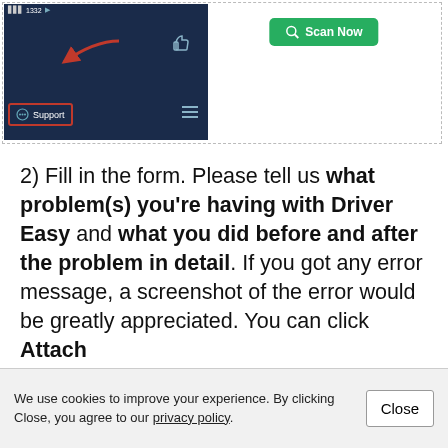[Figure (screenshot): Screenshot of Driver Easy application interface showing a dark navy sidebar with a Support button highlighted in a red rectangle, a red arrow pointing to a thumbs-up icon, and a green 'Scan Now' button on the right side.]
2) Fill in the form. Please tell us what problem(s) you're having with Driver Easy and what you did before and after the problem in detail. If you got any error message, a screenshot of the error would be greatly appreciated. You can click Attach
We use cookies to improve your experience. By clicking Close, you agree to our privacy policy.